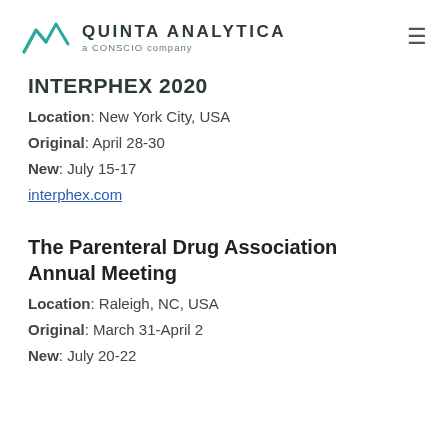QUINTA ANALYTICA a CONSCIO company
INTERPHEX 2020
Location: New York City, USA
Original: April 28-30
New: July 15-17
interphex.com
The Parenteral Drug Association Annual Meeting
Location: Raleigh, NC, USA
Original: March 31-April 2
New: July 20-22